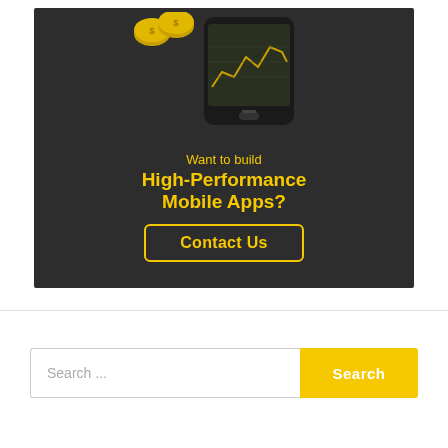[Figure (illustration): Dark-background advertisement image showing a smartphone with a stock chart on its screen and gold coins. Text reads 'Want to build High-Performance Mobile Apps? Contact Us' in yellow/gold text on dark gray background.]
Search ...